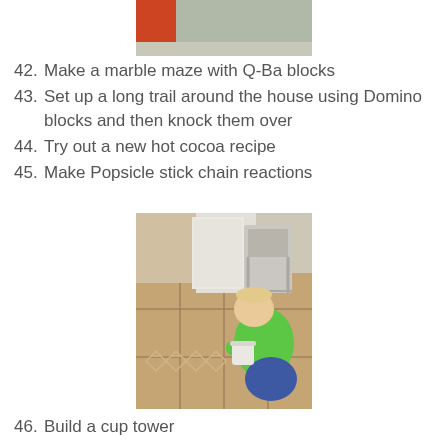[Figure (photo): Partial photo at top of page, showing what appears to be a red/orange object and carpet/floor area]
42. Make a marble maze with Q-Ba blocks
43. Set up a long trail around the house using Domino blocks and then knock them over
44. Try out a new hot cocoa recipe
45. Make Popsicle stick chain reactions
[Figure (photo): A child in a green long-sleeve shirt and blue pants sits on a tiled floor arranging popsicle sticks in a long chain reaction pattern. A white bucket sits nearby. A white folding chair and other items are visible in the background.]
46. Build a cup tower